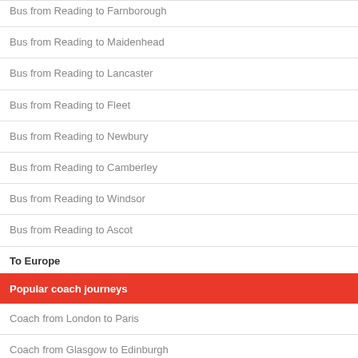Bus from Reading to Farnborough
Bus from Reading to Maidenhead
Bus from Reading to Lancaster
Bus from Reading to Fleet
Bus from Reading to Newbury
Bus from Reading to Camberley
Bus from Reading to Windsor
Bus from Reading to Ascot
To Europe
Popular coach journeys
Coach from London to Paris
Coach from Glasgow to Edinburgh